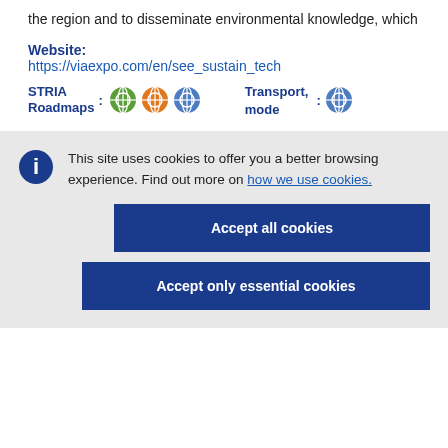the region and to disseminate environmental knowledge, which
Website:
https://viaexpo.com/en/see_sustain_tech
STRIA Roadmaps: [icons] Transport mode: [icon]
This site uses cookies to offer you a better browsing experience. Find out more on how we use cookies.
Accept all cookies
Accept only essential cookies